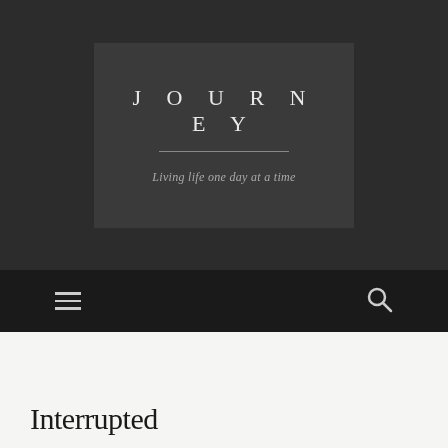JOURNEY
Living life one day at a time
[Figure (other): Hamburger menu icon (three horizontal lines) on dark navigation bar]
[Figure (other): Search (magnifying glass) icon on dark navigation bar]
Interrupted